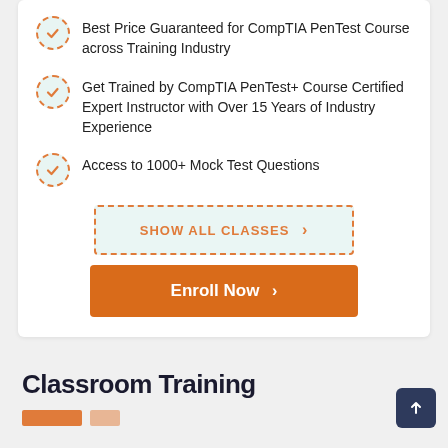Best Price Guaranteed for CompTIA PenTest Course across Training Industry
Get Trained by CompTIA PenTest+ Course Certified Expert Instructor with Over 15 Years of Industry Experience
Access to 1000+ Mock Test Questions
SHOW ALL CLASSES
Enroll Now
Classroom Training